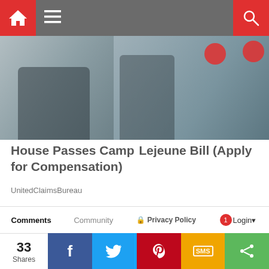[Figure (screenshot): Navigation bar with red home icon, hamburger menu, and red search icon on gray background]
[Figure (photo): Military personnel photo used as hero/banner image for article]
House Passes Camp Lejeune Bill (Apply for Compensation)
UnitedClaimsBureau
What do you think?
0 Responses
[Figure (infographic): Reaction emoji row with thumbs up (Upvote), laughing face (Funny), heart eyes (Love), surprised face (Surprised), crying face (Angry), sad face (Sad)]
Comments | Community | Privacy Policy | Login
33 Shares | Facebook | Twitter | Pinterest | SMS | Share